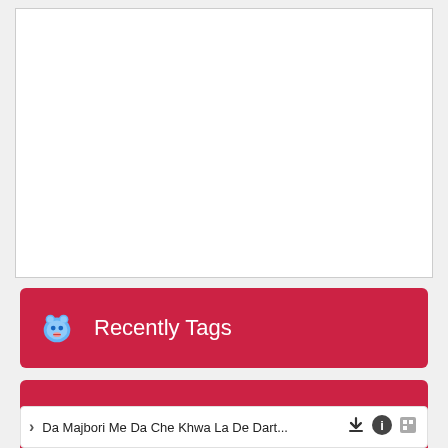[Figure (screenshot): White empty box area at top of mobile app screen]
Recently Tags
Latest Top Tracks
Da Majbori Me Da Che Khwa La De Dart...